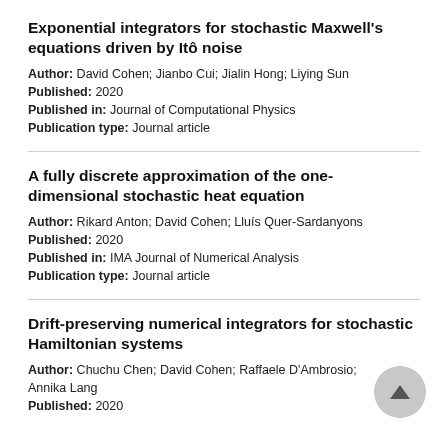Exponential integrators for stochastic Maxwell's equations driven by Itô noise
Author: David Cohen; Jianbo Cui; Jialin Hong; Liying Sun
Published: 2020
Published in: Journal of Computational Physics
Publication type: Journal article
A fully discrete approximation of the one-dimensional stochastic heat equation
Author: Rikard Anton; David Cohen; Lluís Quer-Sardanyons
Published: 2020
Published in: IMA Journal of Numerical Analysis
Publication type: Journal article
Drift-preserving numerical integrators for stochastic Hamiltonian systems
Author: Chuchu Chen; David Cohen; Raffaele D'Ambrosio; Annika Lang
Published: 2020